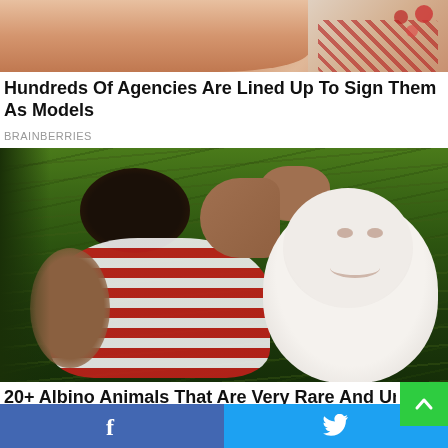[Figure (photo): Partial photo showing a person's torso and arm, with floral pattern clothing visible at top right corner]
Hundreds Of Agencies Are Lined Up To Sign Them As Models
BRAINBERRIES
[Figure (photo): A boy in a red and white striped shirt with a white albino monkey/ape in a lush green jungle or grass setting. The monkey appears to be touching the boy's head.]
20+ Albino Animals That Are Very Rare And Uniq
BRAINBERRIES
[Figure (other): Social media share bar with Facebook (blue) and Twitter (light blue) share buttons at the bottom of the page]